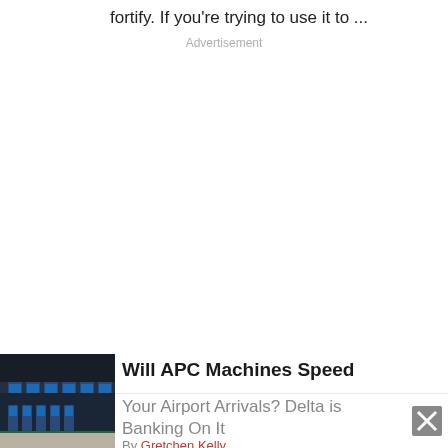fortify. If you're trying to use it to ...
Advertisement
Will APC Machines Speed Your Airport Arrivals? Delta is Banking On It
Your Airport Arrivals? Delta is Banking On It
By Gretchen Kelly